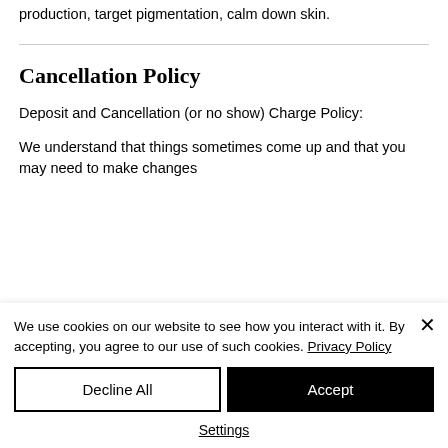production, target pigmentation, calm down skin.
Cancellation Policy
Deposit and Cancellation (or no show) Charge Policy:
We understand that things sometimes come up and that you may need to make changes
We use cookies on our website to see how you interact with it. By accepting, you agree to our use of such cookies. Privacy Policy
Decline All
Accept
Settings